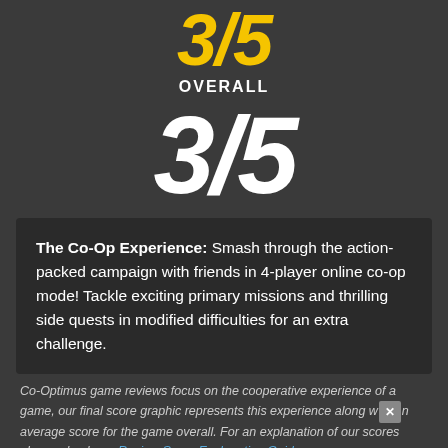3/5
OVERALL
3/5
The Co-Op Experience: Smash through the action-packed campaign with friends in 4-player online co-op mode! Tackle exciting primary missions and thrilling side quests in modified difficulties for an extra challenge.
Co-Optimus game reviews focus on the cooperative experience of a game, our final score graphic represents this experience along with an average score for the game overall. For an explanation of our scores please check our Review Score Explanation Guide.